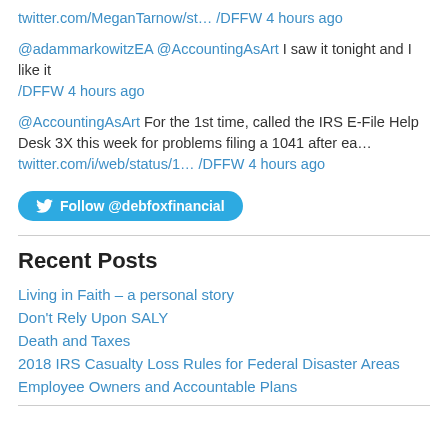twitter.com/MeganTarnow/st… /DFFW 4 hours ago
@adammarkowitzEA @AccountingAsArt I saw it tonight and I like it /DFFW 4 hours ago
@AccountingAsArt For the 1st time, called the IRS E-File Help Desk 3X this week for problems filing a 1041 after ea… twitter.com/i/web/status/1… /DFFW 4 hours ago
Follow @debfoxfinancial
Recent Posts
Living in Faith – a personal story
Don't Rely Upon SALY
Death and Taxes
2018 IRS Casualty Loss Rules for Federal Disaster Areas
Employee Owners and Accountable Plans